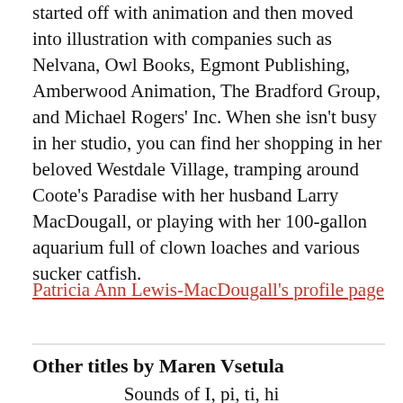started off with animation and then moved into illustration with companies such as Nelvana, Owl Books, Egmont Publishing, Amberwood Animation, The Bradford Group, and Michael Rogers' Inc. When she isn't busy in her studio, you can find her shopping in her beloved Westdale Village, tramping around Coote's Paradise with her husband Larry MacDougall, or playing with her 100-gallon aquarium full of clown loaches and various sucker catfish.
Patricia Ann Lewis-MacDougall's profile page
Other titles by Maren Vsetula
Sounds of I, pi, ti, hi